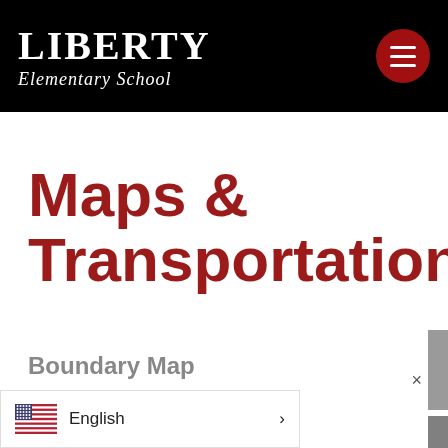LIBERTY Elementary School
Maps & Transportation
Boundary Map
×
English >